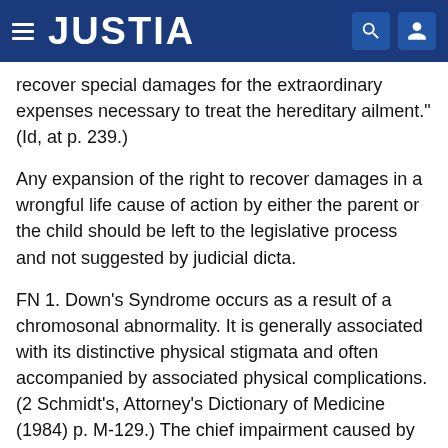JUSTIA
recover special damages for the extraordinary expenses necessary to treat the hereditary ailment." (Id, at p. 239.)
Any expansion of the right to recover damages in a wrongful life cause of action by either the parent or the child should be left to the legislative process and not suggested by judicial dicta.
FN 1. Down's Syndrome occurs as a result of a chromosonal abnormality. It is generally associated with its distinctive physical stigmata and often accompanied by associated physical complications. (2 Schmidt's, Attorney's Dictionary of Medicine (1984) p. M-129.) The chief impairment caused by the disorder is mental retardation. It has been estimated that the condition now represents over one-third of the severely to moderately retarded population in the United States. (Gibson, Down's Syndrome (1978) p. 1) "The prevalence